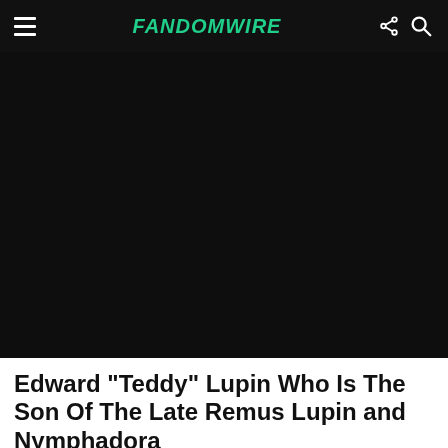FandomWire
[Figure (photo): Dark background image area (image not visible)]
Edward “Teddy” Lupin Who Is The Son Of The Late Remus Lupin and Nymphadora Tonks, Would Often Admit to Members of the